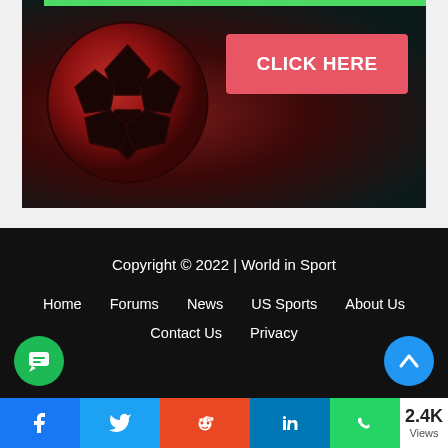[Figure (photo): Dark background with a red-tinted soccer ball on the left, and a coral/red 'CLICK HERE' button on the right. Green bar at the top of the image.]
Copyright © 2022 | World in Sport
Home   Forums   News   US Sports   About Us   Contact Us   Privacy
[Figure (other): Social sharing bar with Facebook, Twitter, Reddit, LinkedIn, WhatsApp icons and 2.4K Views counter]